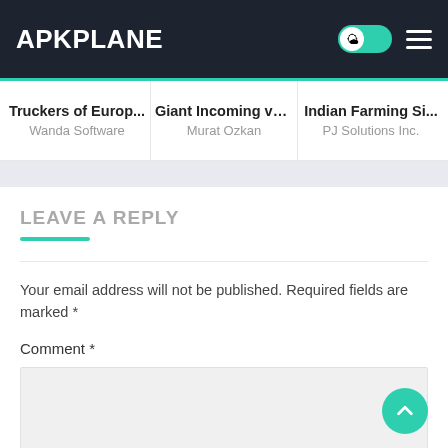APKPLANE
Truckers of Europ... | Wanda Software | Giant Incoming v1.... | Murat Ozkan | Indian Farming Si... | PJ Solutions Inc.
LEAVE A REPLY
Your email address will not be published. Required fields are marked *
Comment *